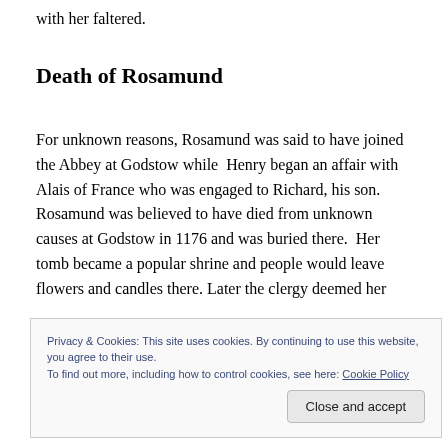with her faltered.
Death of Rosamund
For unknown reasons, Rosamund was said to have joined the Abbey at Godstow while  Henry began an affair with Alais of France who was engaged to Richard, his son. Rosamund was believed to have died from unknown causes at Godstow in 1176 and was buried there.  Her tomb became a popular shrine and people would leave flowers and candles there. Later the clergy deemed her
Privacy & Cookies: This site uses cookies. By continuing to use this website, you agree to their use.
To find out more, including how to control cookies, see here: Cookie Policy